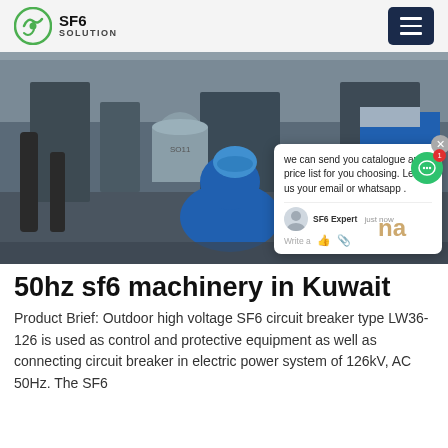SF6 SOLUTION
[Figure (photo): Workers in blue uniforms working on outdoor high voltage SF6 circuit breaker equipment in an industrial setting]
we can send you catalogue and price list for you choosing. Leave us your email or whatsapp .
50hz sf6 machinery in Kuwait
Product Brief: Outdoor high voltage SF6 circuit breaker type LW36-126 is used as control and protective equipment as well as connecting circuit breaker in electric power system of 126kV, AC 50Hz. The SF6